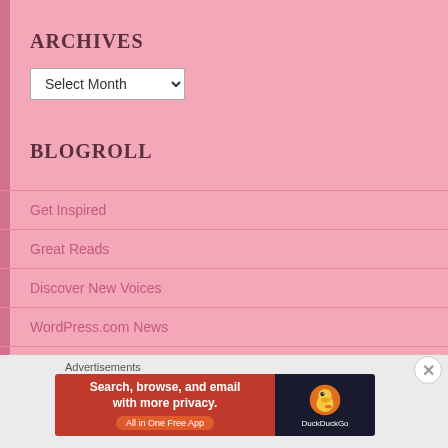ARCHIVES
Select Month (dropdown)
BLOGROLL
Get Inspired
Great Reads
Discover New Voices
WordPress.com News
Get Mobile
Get Polling
Learn WordPress.com
Advertisements
[Figure (screenshot): DuckDuckGo advertisement banner: 'Search, browse, and email with more privacy. All in One Free App' with DuckDuckGo duck logo on dark background]